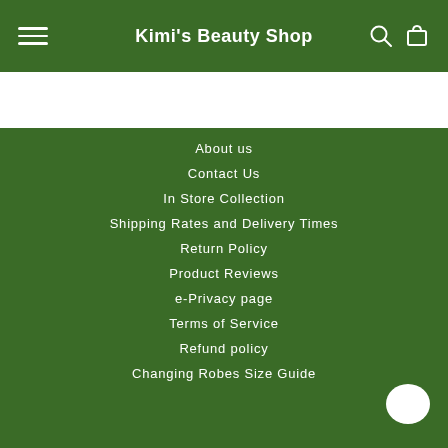Kimi's Beauty Shop
About us
Contact Us
In Store Collection
Shipping Rates and Delivery Times
Return Policy
Product Reviews
e-Privacy page
Terms of Service
Refund policy
Changing Robes Size Guide